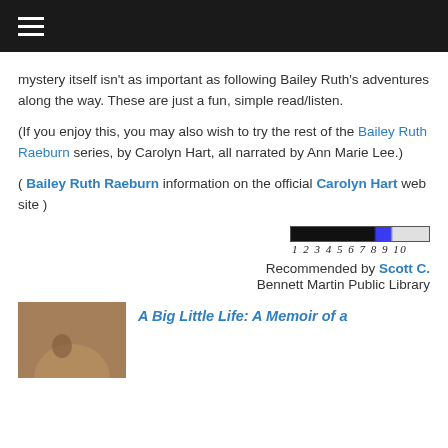≡ (hamburger menu)
mystery itself isn't as important as following Bailey Ruth's adventures along the way. These are just a fun, simple read/listen.
(If you enjoy this, you may also wish to try the rest of the Bailey Ruth Raeburn series, by Carolyn Hart, all narrated by Ann Marie Lee.)
( Bailey Ruth Raeburn information on the official Carolyn Hart web site )
[Figure (other): A 10-point rating bar graphic showing a black-to-blue filled bar over a numbered scale 1 through 10]
Recommended by Scott C.
Bennett Martin Public Library
[Figure (photo): Partial book cover thumbnail showing a person's face in warm tones]
A Big Little Life: A Memoir of a